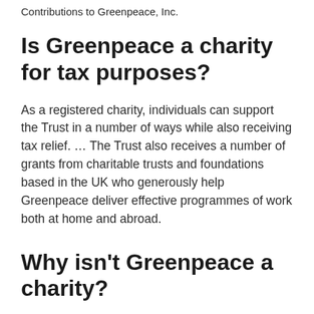Contributions to Greenpeace, Inc.
Is Greenpeace a charity for tax purposes?
As a registered charity, individuals can support the Trust in a number of ways while also receiving tax relief. … The Trust also receives a number of grants from charitable trusts and foundations based in the UK who generously help Greenpeace deliver effective programmes of work both at home and abroad.
Why isn't Greenpeace a charity?
Revenue Canada's charities division says